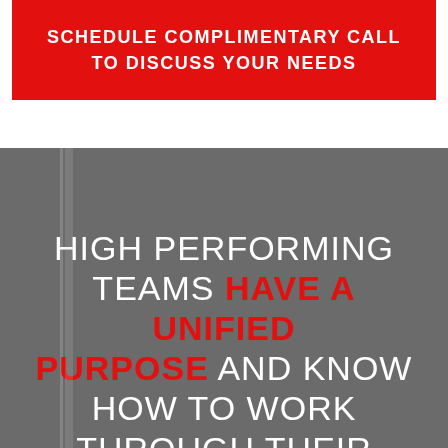SCHEDULE COMPLIMENTARY CALL TO DISCUSS YOUR NEEDS
HIGH PERFORMING TEAMS HAVE A UNIFIED PURPOSE AND KNOW HOW TO WORK THROUGH THEIR